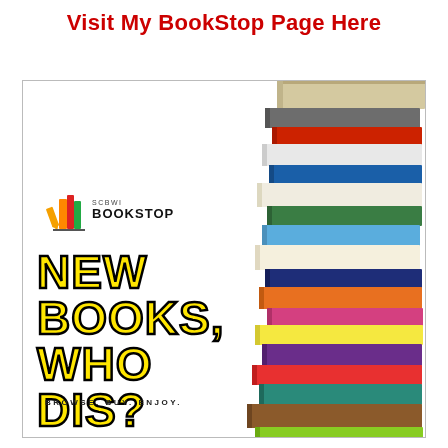Visit My BookStop Page Here
[Figure (illustration): SCBWI BookStop advertisement banner with a stack of colorful books on the right side, SCBWI BookStop logo in the upper left of the banner, large yellow text reading 'NEW BOOKS, WHO DIS?' and tagline 'BROWSE. BUY. ENJOY.']